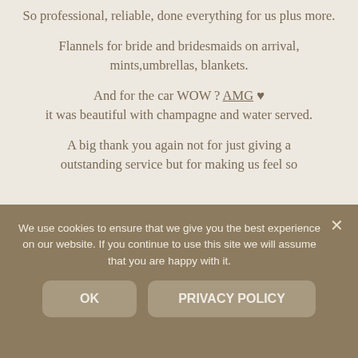So professional, reliable, done everything for us plus more.
Flannels for bride and bridesmaids on arrival, mints,umbrellas, blankets.
And for the car WOW ? AMG ♥ it was beautiful with champagne and water served.
A big thank you again not for just giving a outstanding service but for making us feel so
We use cookies to ensure that we give you the best experience on our website. If you continue to use this site we will assume that you are happy with it.
OK
PRIVACY POLICY